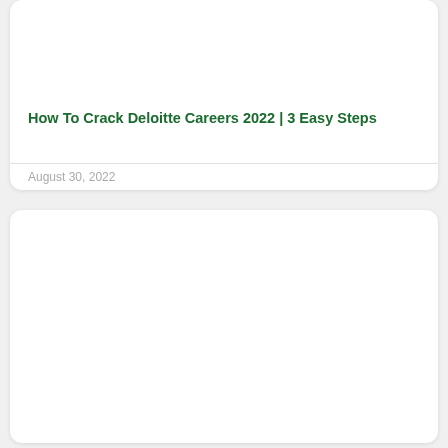How To Crack Deloitte Careers 2022 | 3 Easy Steps
August 30, 2022